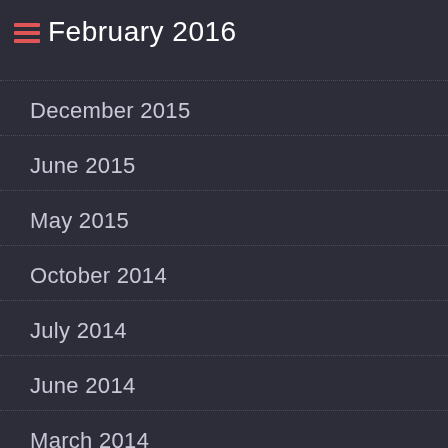February 2016
December 2015
June 2015
May 2015
October 2014
July 2014
June 2014
March 2014